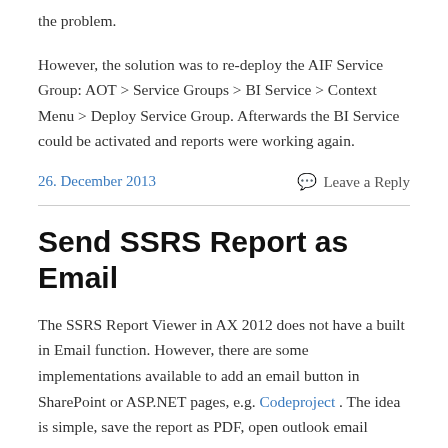the problem.
However, the solution was to re-deploy the AIF Service Group: AOT > Service Groups > BI Service > Context Menu > Deploy Service Group. Afterwards the BI Service could be activated and reports were working again.
26. December 2013
Leave a Reply
Send SSRS Report as Email
The SSRS Report Viewer in AX 2012 does not have a built in Email function. However, there are some implementations available to add an email button in SharePoint or ASP.NET pages, e.g. Codeproject . The idea is simple, save the report as PDF, open outlook email